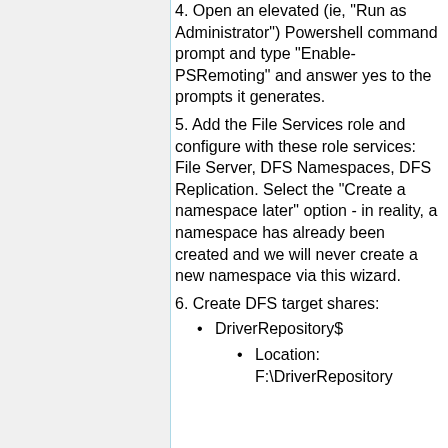4. Open an elevated (ie, "Run as Administrator") Powershell command prompt and type "Enable-PSRemoting" and answer yes to the prompts it generates.
5. Add the File Services role and configure with these role services: File Server, DFS Namespaces, DFS Replication. Select the "Create a namespace later" option - in reality, a namespace has already been created and we will never create a new namespace via this wizard.
6. Create DFS target shares:
DriverRepository$
Location: F:\DriverRepository